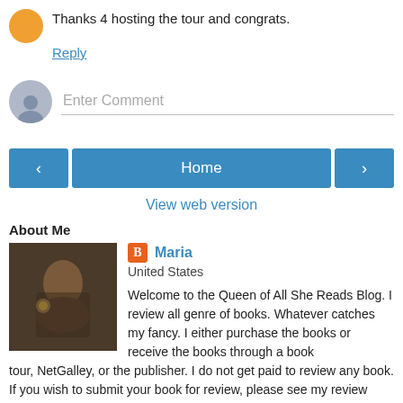Thanks 4 hosting the tour and congrats.
Reply
Enter Comment
Home
View web version
About Me
Maria
United States
Welcome to the Queen of All She Reads Blog. I review all genre of books. Whatever catches my fancy. I either purchase the books or receive the books through a book tour, NetGalley, or the publisher. I do not get paid to review any book. If you wish to submit your book for review, please see my review policy. Thank you